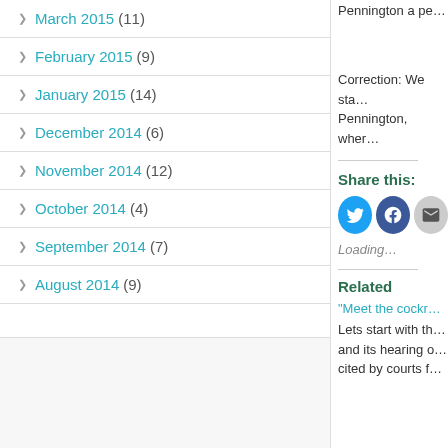March 2015 (11)
February 2015 (9)
January 2015 (14)
December 2014 (6)
November 2014 (12)
October 2014 (4)
September 2014 (7)
August 2014 (9)
Pennington a pe…
Correction: We sta… Pennington, wher…
Share this:
Loading...
Related
"Meet the cockr…
Lets start with th… and its hearing o… cited by courts f…